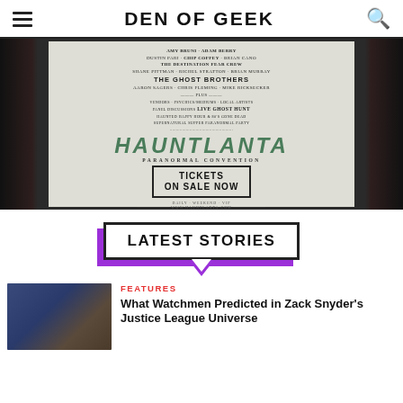DEN OF GEEK
[Figure (photo): Hauntlanta Paranormal Convention poster displayed between dark curtains. Poster text includes: Amy Bruni, Adam Berry, Dustin Pari, Chip Coffey, Brian Cano, The Destination Fear Crew, Shane Pittman, Rachel Stratton, Brian Murray, The Ghost Brothers, Aaron Sagers, Chris Fleming, Mike Ricksecker, Plus vendors, psychics/mediums, local artists, panel discussions, live ghost hunt, haunted happy hour, 80's Gone Dead, Supernatural Supper, Paranormal Party. HAUNTLANTA PARANORMAL CONVENTION. TICKETS ON SALE NOW. www.hauntlanta.com]
LATEST STORIES
FEATURES
What Watchmen Predicted in Zack Snyder's Justice League Universe